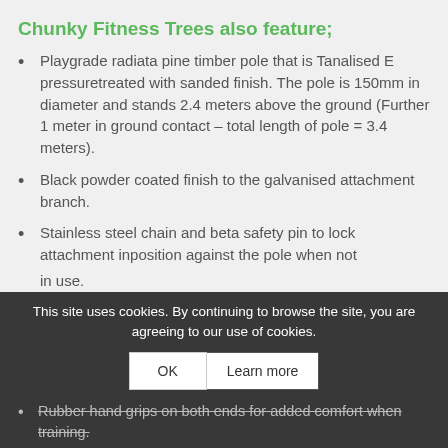Chunky Fitness Trees also feature;
Playgrade radiata pine timber pole that is Tanalised E pressuretreated with sanded finish. The pole is 150mm in diameter and stands 2.4 meters above the ground (Further 1 meter in ground contact – total length of pole = 3.4 meters).
Black powder coated finish to the galvanised attachment branch.
Stainless steel chain and beta safety pin to lock attachment inposition against the pole when not in use.
Rubber hand grips on both ends for added comfort when training.
Stainless steel bracket that can be used inconjunction with the Fitness
This site uses cookies. By continuing to browse the site, you are agreeing to our use of cookies.